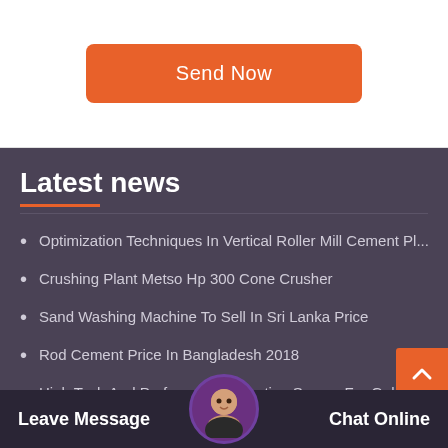[Figure (other): Orange 'Send Now' button on white background]
Latest news
Optimization Techniques In Vertical Roller Mill Cement Pl...
Crushing Plant Metso Hp 300 Cone Crusher
Sand Washing Machine To Sell In Sri Lanka Price
Rod Cement Price In Bangladesh 2018
High Tech And Performance Vibrating Screen For Gol...
Latest Cement Rates In...
Leave Message   Chat Online